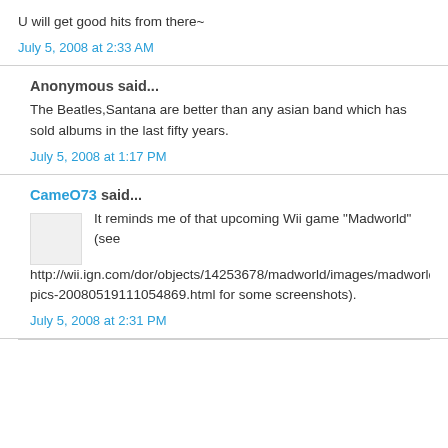U will get good hits from there~
July 5, 2008 at 2:33 AM
Anonymous said...
The Beatles,Santana are better than any asian band which has sold albums in the last fifty years.
July 5, 2008 at 1:17 PM
CameO73 said...
It reminds me of that upcoming Wii game "Madworld" (see http://wii.ign.com/dor/objects/14253678/madworld/images/madworld-pics-20080519111054869.html for some screenshots).
July 5, 2008 at 2:31 PM